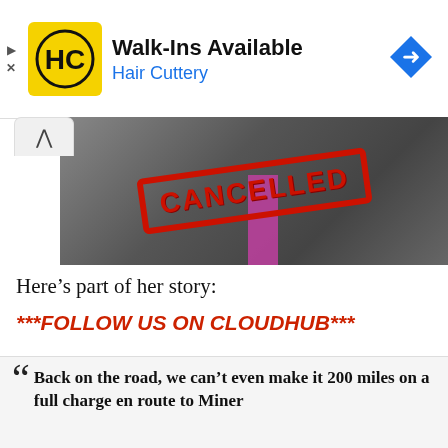[Figure (screenshot): Hair Cuttery advertisement banner with HC logo, 'Walk-Ins Available' text, 'Hair Cuttery' subtitle, and navigation arrow icon]
[Figure (photo): Image of a person in a dark suit and pink tie with a large red 'CANCELLED' stamp overlay]
Here's part of her story:
***FOLLOW US ON CLOUDHUB***
Back on the road, we can't even make it 200 miles on a full charge en route to Miner